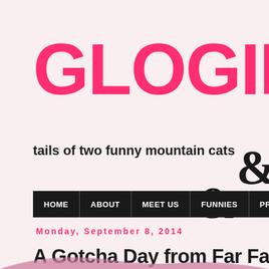GLOGIRL
tails of two funny mountain cats & their
HOME | ABOUT | MEET US | FUNNIES | PRODUCT REVIEWS | AN
Monday, September 8, 2014
A Gotcha Day from Far Far Aw